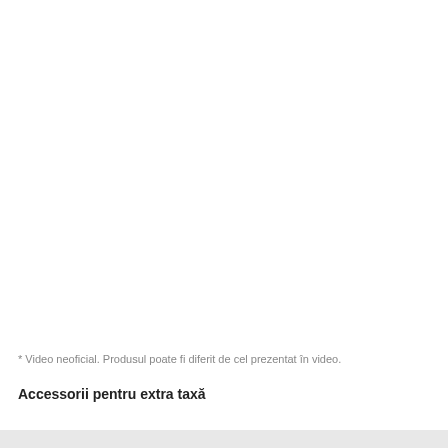* Video neoficial. Produsul poate fi diferit de cel prezentat în video.
Accessorii pentru extra taxă